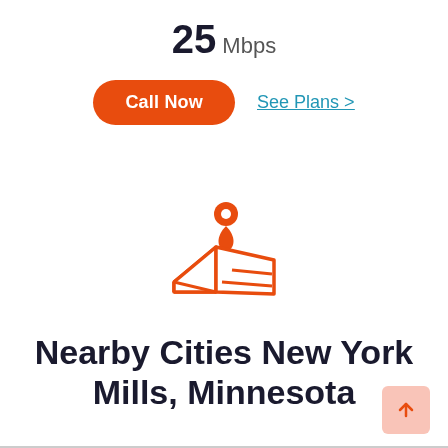25 Mbps
Call Now
See Plans >
[Figure (illustration): Orange map pin / location marker icon with an orange folded map beneath it]
Nearby Cities New York Mills, Minnesota